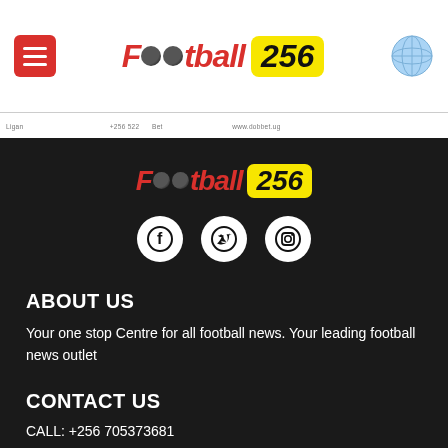Football 256 — website header with hamburger menu, logo, and globe icon
www.dobbet.ug — ad banner strip
[Figure (logo): Football 256 logo in dark footer area — red italic text 'Football' with football icons replacing 'o', yellow badge with black '256']
[Figure (infographic): Social media icons row: Facebook, Twitter, Instagram — white circles on dark background]
ABOUT US
Your one stop Centre for all football news. Your leading football news outlet
CONTACT US
CALL: +256 705373681